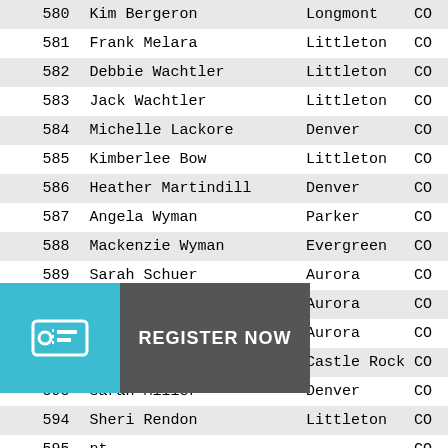| # | Name | City | State |
| --- | --- | --- | --- |
| 580 | Kim Bergeron | Longmont | CO |
| 581 | Frank Melara | Littleton | CO |
| 582 | Debbie Wachtler | Littleton | CO |
| 583 | Jack Wachtler | Littleton | CO |
| 584 | Michelle Lackore | Denver | CO |
| 585 | Kimberlee Bow | Littleton | CO |
| 586 | Heather Martindill | Denver | CO |
| 587 | Angela Wyman | Parker | CO |
| 588 | Mackenzie Wyman | Evergreen | CO |
| 589 | Sarah Schuer | Aurora | CO |
| 590 | Amy Schouten | Aurora | CO |
| 591 | Samantha Stanley | Aurora | CO |
| 592 | Nicki Bell | Castle Rock | CO |
| 593 | Sarah Miller | Denver | CO |
| 594 | Sheri Rendon | Littleton | CO |
| 595 | [obscured]nt |  | CO |
| 596 | [obscured]lton | Littleton | CO |
| 597 | [obscured]s | Boulder | CO |
| 598 | Bobbi Laski | Arvada | CO |